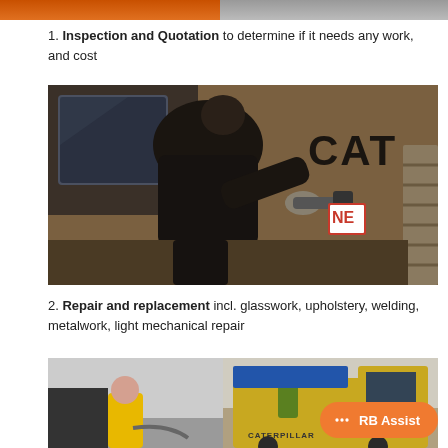[Figure (photo): Partial view of orange/industrial machinery at top of page]
1. Inspection and Quotation to determine if it needs any work, and cost
[Figure (photo): A worker in dark jacket working on the side of a CAT heavy equipment machine, with a label visible on the machine]
2. Repair and replacement incl. glasswork, upholstery, welding, metalwork, light mechanical repair
[Figure (photo): Bottom partial photo showing heavy equipment including a Caterpillar machine in a workshop/yard]
RB Assist